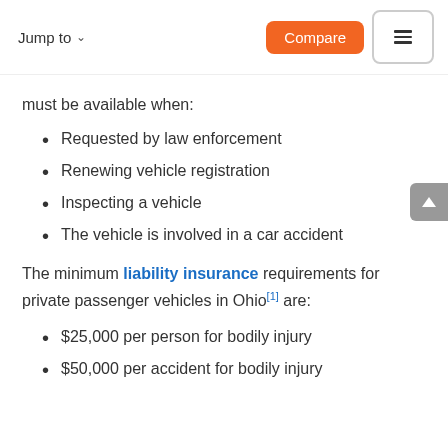Jump to  Compare
must be available when:
Requested by law enforcement
Renewing vehicle registration
Inspecting a vehicle
The vehicle is involved in a car accident
The minimum liability insurance requirements for private passenger vehicles in Ohio[1] are:
$25,000 per person for bodily injury
$50,000 per accident for bodily injury